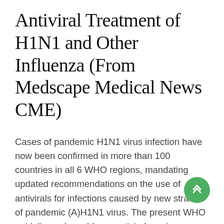Antiviral Treatment of H1N1 and Other Influenza (From Medscape Medical News CME)
Cases of pandemic H1N1 virus infection have now been confirmed in more than 100 countries in all 6 WHO regions, mandating updated recommendations on the use of antivirals for infections caused by new strains of pandemic (A)H1N1 virus. The present WHO guidelines also address antiviral use in seasonal influenza and in infections caused by other novel influenza A viruses, but they do not change existing guidelines on pharmacological management of human infection with H5N1